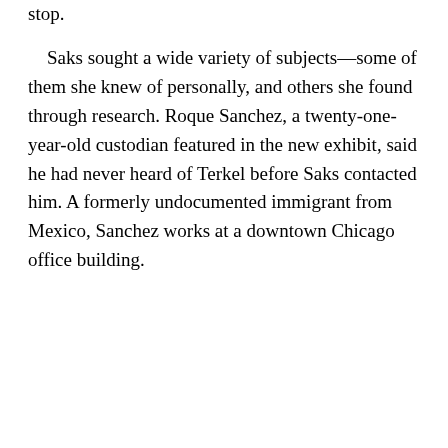stop.
Saks sought a wide variety of subjects—some of them she knew of personally, and others she found through research. Roque Sanchez, a twenty-one-year-old custodian featured in the new exhibit, said he had never heard of Terkel before Saks contacted him. A formerly undocumented immigrant from Mexico, Sanchez works at a downtown Chicago office building.